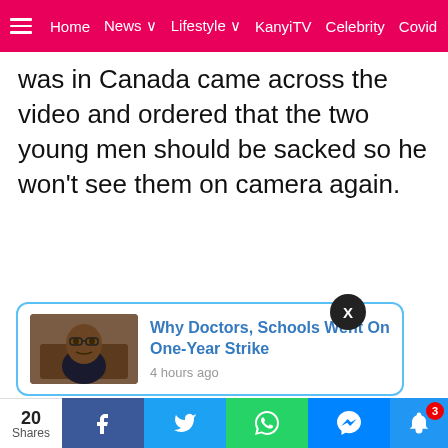Home  News  Lifestyle  KanyiTV  Celebrity  Covid
was in Canada came across the video and ordered that the two young men should be sacked so he won't see them on camera again.
[Figure (screenshot): Notification popup card with thumbnail photo of a man, title 'Why Doctors, Schools Went On One-Year Strike', timestamp '4 hours ago']
20 Shares | Facebook | Twitter | WhatsApp | Messenger | Bell notification (3)